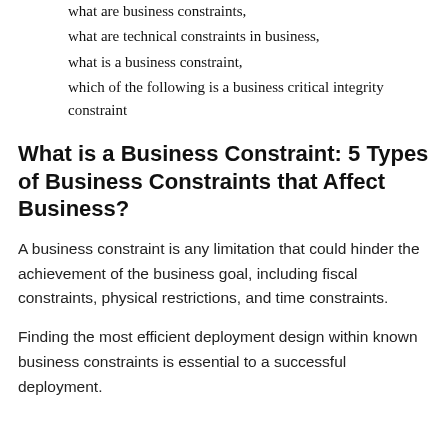what are business constraints,
what are technical constraints in business,
what is a business constraint,
which of the following is a business critical integrity constraint
What is a Business Constraint: 5 Types of Business Constraints that Affect Business?
A business constraint is any limitation that could hinder the achievement of the business goal, including fiscal constraints, physical restrictions, and time constraints.
Finding the most efficient deployment design within known business constraints is essential to a successful deployment.